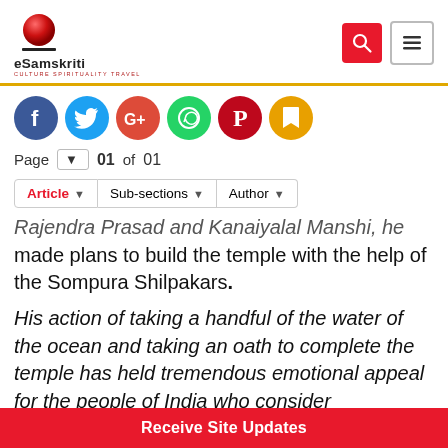eSamskriti | CULTURE SPIRITUALITY TRAVEL
[Figure (other): Social sharing icons: Facebook, Twitter, Google+, WhatsApp, Pinterest, Bookmark]
Page  01 of 01
Article | Sub-sections | Author
Rajendra Prasad and Kanaiyalal Manshi, he made plans to build the temple with the help of the Sompura Shilpakars.
His action of taking a handful of the water of the ocean and taking an oath to complete the temple has held tremendous emotional appeal for the people of India who consider
Receive Site Updates